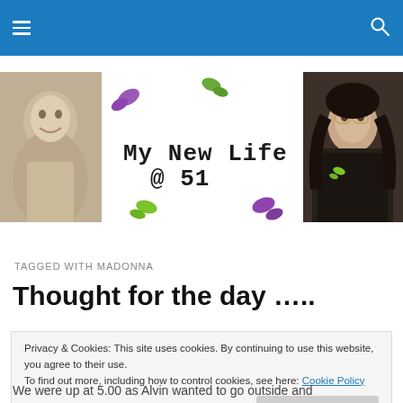My New Life @ 51 – navigation bar with menu and search icons
[Figure (photo): Blog header banner showing 'My New Life @ 51' title with butterfly decorations, flanked by a sepia photo of a young girl on the left and a photo of a woman with glasses on the right]
TAGGED WITH MADONNA
Thought for the day …..
Privacy & Cookies: This site uses cookies. By continuing to use this website, you agree to their use.
To find out more, including how to control cookies, see here: Cookie Policy
[Close and accept]
We were up at 5.00 as Alvin wanted to go outside and